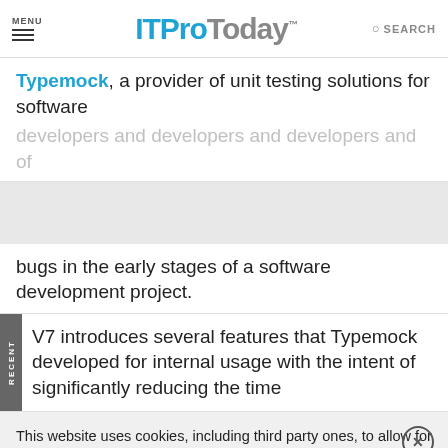MENU | ITProToday™ | SEARCH
Typemock, a provider of unit testing solutions for software developers...
bugs in the early stages of a software development project.
V7 introduces several features that Typemock developed for internal usage with the intent of significantly reducing the time
This website uses cookies, including third party ones, to allow for analysis of how people use our website in order to improve your experience and our services. By continuing to use our website, you agree to the use of such cookies. Click here for more information on our Cookie Policy and Privacy Policy.